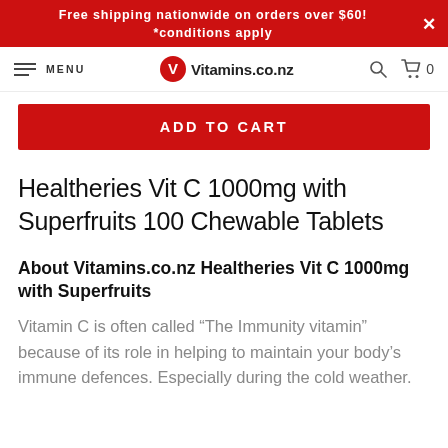Free shipping nationwide on orders over $60! *conditions apply
MENU  Vitamins.co.nz  0
ADD TO CART
Healtheries Vit C 1000mg with Superfruits 100 Chewable Tablets
About Vitamins.co.nz Healtheries Vit C 1000mg with Superfruits
Vitamin C is often called “The Immunity vitamin” because of its role in helping to maintain your body’s immune defences. Especially during the cold weather.